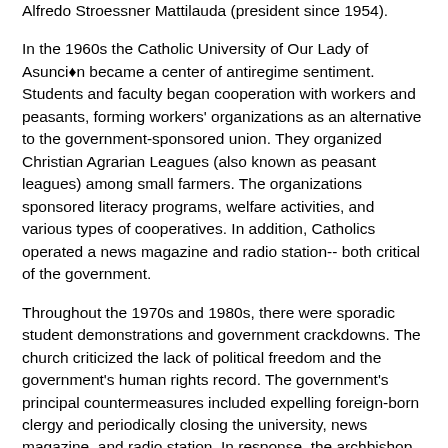Alfredo Stroessner Mattilauda (president since 1954).
In the 1960s the Catholic University of Our Lady of Asunción became a center of antiregime sentiment. Students and faculty began cooperation with workers and peasants, forming workers' organizations as an alternative to the government-sponsored union. They organized Christian Agrarian Leagues (also known as peasant leagues) among small farmers. The organizations sponsored literacy programs, welfare activities, and various types of cooperatives. In addition, Catholics operated a news magazine and radio station-- both critical of the government.
Throughout the 1970s and 1980s, there were sporadic student demonstrations and government crackdowns. The church criticized the lack of political freedom and the government's human rights record. The government's principal countermeasures included expelling foreign-born clergy and periodically closing the university, news magazine, and radio station. In response, the archbishop of Asunción excommunicated various prominent government officials and suspended Catholic participation at major civic and religious celebrations (see Interest Groups, ch. 4).
On a popular level, Catholicism was an essential component of social life. Even the poorest of homes contained pictures of the saints and a family shrine. Catholic ritual marked the important transitions in life: baptism, confirmation, marriage, and burial